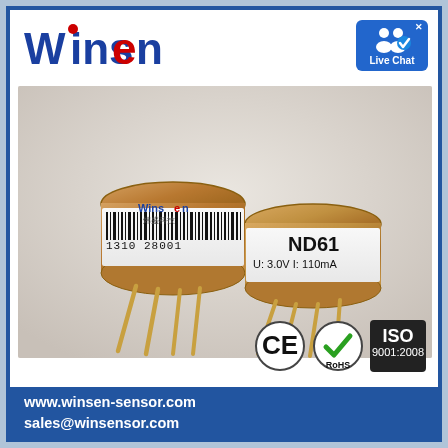[Figure (logo): Winsen brand logo with blue text and red accent on W]
[Figure (photo): Two Winsen MD61 gas sensor components with gold/copper cylindrical bodies, white label with barcode and text 'ND61 U:3.0V I:110mA', and gold pin leads extending downward]
[Figure (other): CE certification badge]
[Figure (other): RoHS certification badge with green checkmark]
[Figure (other): ISO 9001:2008 certification badge]
www.winsen-sensor.com
sales@winsensor.com